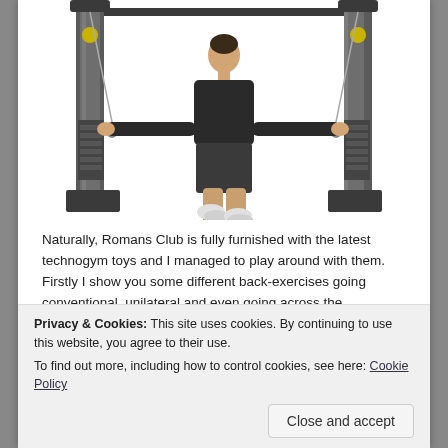[Figure (photo): A man using a cable crossover gym machine (technogym), arms extended horizontally holding cable handles, wearing black t-shirt and shorts, standing between two tall cable tower columns.]
Naturally, Romans Club is fully furnished with the latest technogym toys and I managed to play around with them.  Firstly I show you some different back-exercises going conventional, unilateral and even going across the
Privacy & Cookies: This site uses cookies. By continuing to use this website, you agree to their use.
To find out more, including how to control cookies, see here: Cookie Policy
Close and accept